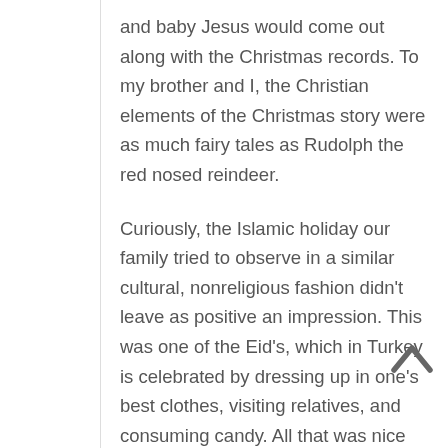and baby Jesus would come out along with the Christmas records. To my brother and I, the Christian elements of the Christmas story were as much fairy tales as Rudolph the red nosed reindeer.
Curiously, the Islamic holiday our family tried to observe in a similar cultural, nonreligious fashion didn't leave as positive an impression. This was one of the Eid's, which in Turkey is celebrated by dressing up in one's best clothes, visiting relatives, and consuming candy. All that was nice enough, but there was also a clearly religious atmosphere about the whole thing, which made it more difficult to just take it as a pleasant cultural holiday.